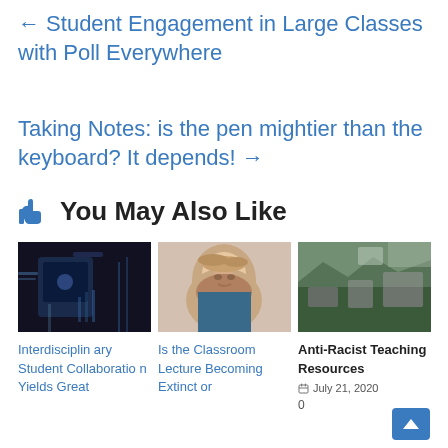← Student Engagement in Large Classes with Poll Everywhere
Taking Notes: is the pen mightier than the keyboard? It depends! →
👍 You May Also Like
[Figure (photo): A hand holding a smartphone with cables/technology in the background]
[Figure (photo): Portrait of a woman smiling, blonde hair, blue turtleneck]
[Figure (photo): Rocks and foliage, nature scene]
Interdisciplinary Student Collaboration Yields Great
Is the Classroom Lecture Becoming Extinct or
Anti-Racist Teaching Resources
July 21, 2020
0